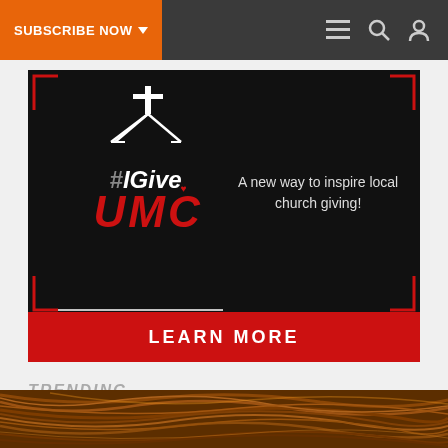SUBSCRIBE NOW
[Figure (illustration): #IGiveUMC advertisement banner with church icon, tagline 'A new way to inspire local church giving!' and red LEARN MORE button at bottom]
TRENDING
[Figure (photo): Photo of brown hair visible at bottom of page]